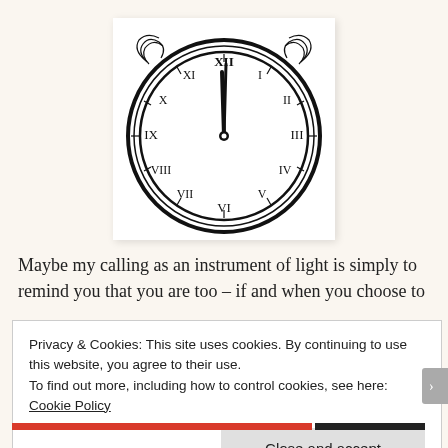[Figure (illustration): Ornate vintage analog clock face with Roman numerals, decorative scrollwork at top, hands pointing near 12 o'clock, black and white line art style.]
Maybe my calling as an instrument of light is simply to remind you that you are too – if and when you choose to
Privacy & Cookies: This site uses cookies. By continuing to use this website, you agree to their use.
To find out more, including how to control cookies, see here: Cookie Policy
Close and accept